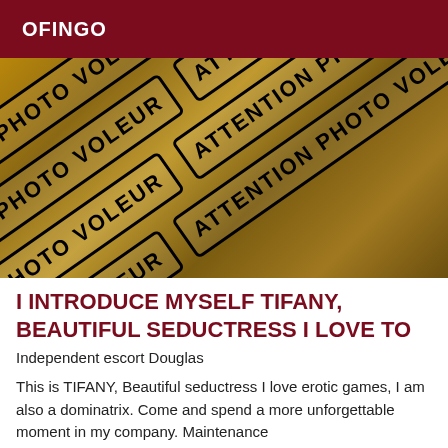OFINGO
[Figure (photo): Photo with ATTENTION PHOTO VOLEUR watermark overlaid diagonally across an image]
I INTRODUCE MYSELF TIFANY, BEAUTIFUL SEDUCTRESS I LOVE TO
Independent escort Douglas
This is TIFANY, Beautiful seductress I love erotic games, I am also a dominatrix. Come and spend a more unforgettable moment in my company. Maintenance